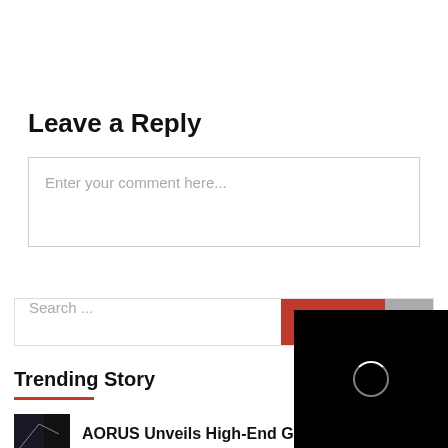Leave a Reply
Enter your comment here...
Search...
Trending Story
AORUS Unveils High-End Gaming